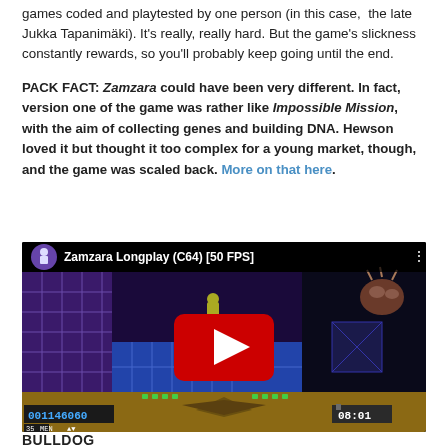games coded and playtested by one person (in this case, the late Jukka Tapanimäki). It's really, really hard. But the game's slickness constantly rewards, so you'll probably keep going until the end.
PACK FACT: Zamzara could have been very different. In fact, version one of the game was rather like Impossible Mission, with the aim of collecting genes and building DNA. Hewson loved it but thought it too complex for a young market, though, and the game was scaled back. More on that here.
[Figure (screenshot): YouTube video thumbnail for 'Zamzara Longplay (C64) [50 FPS]' showing a Commodore 64 game screenshot with a play button overlay. The game screen shows a platform game with a character jumping, score 001146060, time 08:01, and HUD elements at the bottom.]
BULLDOG